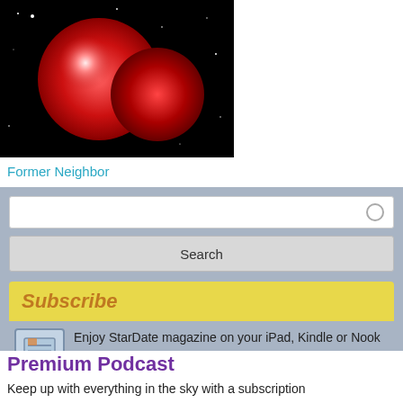[Figure (photo): Astronomical image of two red stars/binary star system against a black starfield background]
Former Neighbor
[Figure (other): Search input box with circle icon]
[Figure (other): Search button]
Subscribe
Enjoy StarDate magazine on your iPad, Kindle or Nook with our digital edition.
Order Now
Premium Podcast
Keep up with everything in the sky with a subscription